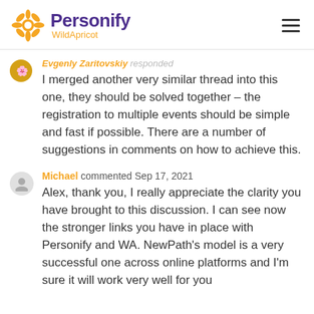Personify WildApricot
Evgenly Zaritovskiy responded
I merged another very similar thread into this one, they should be solved together – the registration to multiple events should be simple and fast if possible. There are a number of suggestions in comments on how to achieve this.
Michael commented Sep 17, 2021
Alex, thank you, I really appreciate the clarity you have brought to this discussion. I can see now the stronger links you have in place with Personify and WA. NewPath's model is a very successful one across online platforms and I'm sure it will work very well for you